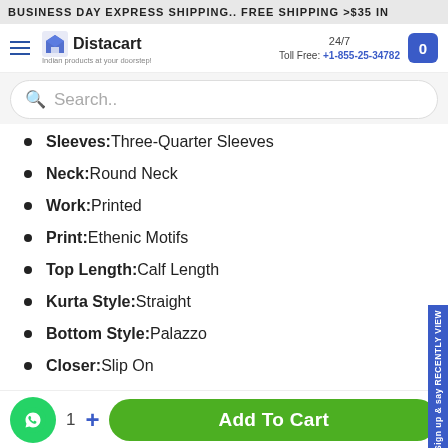BUSINESS DAY EXPRESS SHIPPING.. FREE SHIPPING >$35 IN
[Figure (logo): Distacart logo with tagline 'Indian products at your doorstep!']
24/7 Toll Free: +1-855-25-34782
Sleeves: Three-Quarter Sleeves
Neck: Round Neck
Work: Printed
Print: Ethenic Motifs
Top Length: Calf Length
Kurta Style: Straight
Bottom Style: Palazzo
Closer: Slip On
1  +  Add To Cart